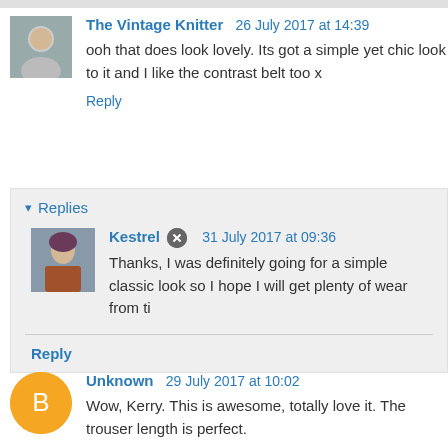The Vintage Knitter 26 July 2017 at 14:39
ooh that does look lovely. Its got a simple yet chic look to it and I like the contrast belt too x
Reply
Replies
Kestrel 31 July 2017 at 09:36
Thanks, I was definitely going for a simple classic look so I hope I will get plenty of wear from ti
Reply
Unknown 29 July 2017 at 10:02
Wow, Kerry. This is awesome, totally love it. The trouser length is perfect.
Reply